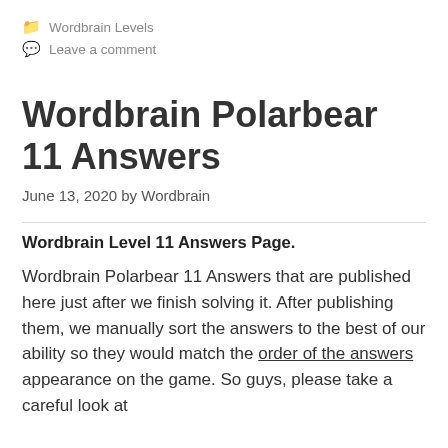📁 Wordbrain Levels
💬 Leave a comment
Wordbrain Polarbear 11 Answers
June 13, 2020 by Wordbrain
Wordbrain Level 11 Answers Page.
Wordbrain Polarbear 11 Answers that are published here just after we finish solving it. After publishing them, we manually sort the answers to the best of our ability so they would match the order of the answers appearance on the game. So guys, please take a careful look at the answers you will find here on our site. When